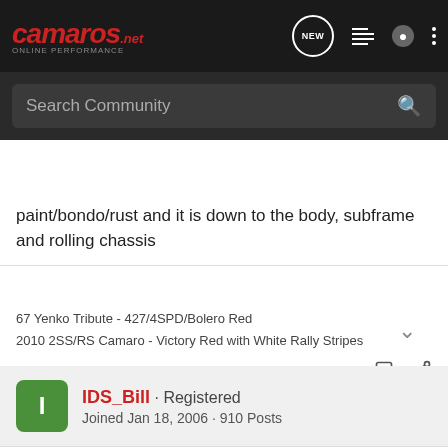CAMAROS.net - ONLINE PERFORMANCE
paint/bondo/rust and it is down to the body, subframe and rolling chassis
67 Yenko Tribute - 427/4SPD/Bolero Red
2010 2SS/RS Camaro - Victory Red with White Rally Stripes
IDS_Bill · Registered
Joined Jan 18, 2006 · 910 Posts
Discussion Starter · #2 · Mar 12, 2007
Never mind - did a search on it....